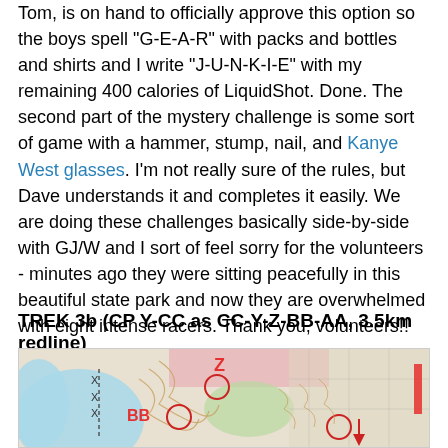Tom, is on hand to officially approve this option so the boys spell "G-E-A-R" with packs and bottles and shirts and I write "J-U-N-K-I-E" with my remaining 400 calories of LiquidShot. Done. The second part of the mystery challenge is some sort of game with a hammer, stump, nail, and Kanye West glasses. I'm not really sure of the rules, but Dave understands it and completes it easily. We are doing these challenges basically side-by-side with GJ/W and I sort of feel sorry for the volunteers - minutes ago they were sitting peacefully in this beautiful state park and now they are overwhelmed with eight intense racers. Thank you, volunteers!!
TREK 3b (CP Y-CC as CC-Y-Z-BB-AA, 3.5km redline)
[Figure (map): Topographic map showing trek route with labeled checkpoints Z, BB, and other markers. Map shows terrain with contour lines, color-coded regions (blue, pink, green), and red circle markers at checkpoint locations.]